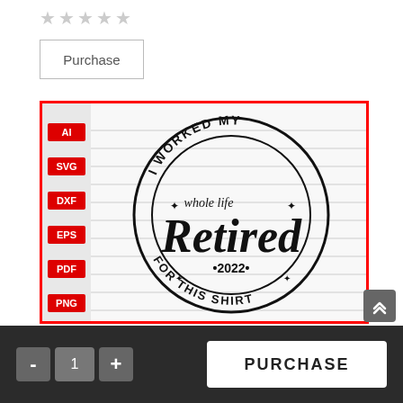[Figure (other): Five empty star rating icons in gray]
Purchase
[Figure (illustration): Product listing image with red border showing a circular stamp design on lined paper background. The stamp reads: 'I WORKED MY whole life Retired FOR THIS SHIRT • 2022 •'. Left side has red format tags: AI, SVG, DXF, EPS, PDF, PNG.]
PURCHASE